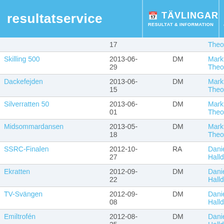resultatservice | TÄVLINGAR RESULTAT & INFORMATION | KÖ & ANNO
| Name | Date | Type | Person |
| --- | --- | --- | --- |
|  | 17 |  | Theorin |
| Skilling 500 | 2013-06-29 | DM | Markus Theorin |
| Dackefejden | 2013-06-15 | DM | Markus Theorin |
| Silverratten 50 | 2013-06-01 | DM | Markus Theorin |
| Midsommardansen | 2013-05-18 | DM | Markus Theorin |
| SSRC-Finalen | 2012-10-27 | RA | Daniel Halldén |
| Ekratten | 2012-09-22 | DM | Daniel Halldén |
| TV-Svängen | 2012-09-08 | DM | Daniel Halldén |
| Emiltrofén | 2012-08-25 | DM | Daniel Halldén |